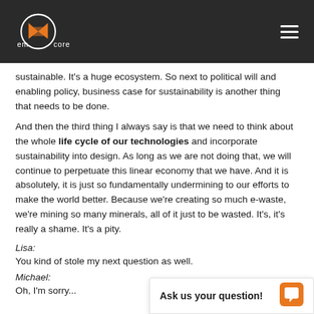emcore (logo) — navigation header
sustainable. It's a huge ecosystem. So next to political will and enabling policy, business case for sustainability is another thing that needs to be done.
And then the third thing I always say is that we need to think about the whole life cycle of our technologies and incorporate sustainability into design. As long as we are not doing that, we will continue to perpetuate this linear economy that we have. And it is absolutely, it is just so fundamentally undermining to our efforts to make the world better. Because we're creating so much e-waste, we're mining so many minerals, all of it just to be wasted. It's, it's really a shame. It's a pity.
Lisa:
You kind of stole my next question as well.
Michael:
Oh, I'm sorry...